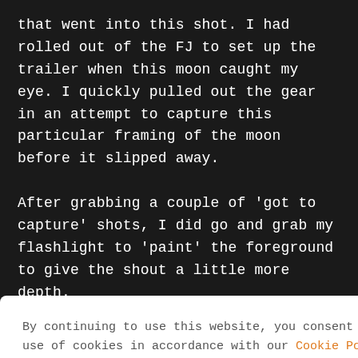that went into this shot. I had rolled out of the FJ to set up the trailer when this moon caught my eye. I quickly pulled out the gear in an attempt to capture this particular framing of the moon before it slipped away.
After grabbing a couple of 'got to capture' shots, I did go and grab my flashlight to 'paint' the foreground to give the shout a little more depth.
STRAIT OF JUAN DE FUCA
By continuing to use this website, you consent to the use of cookies in accordance with our Cookie Policy.
ACCEPT